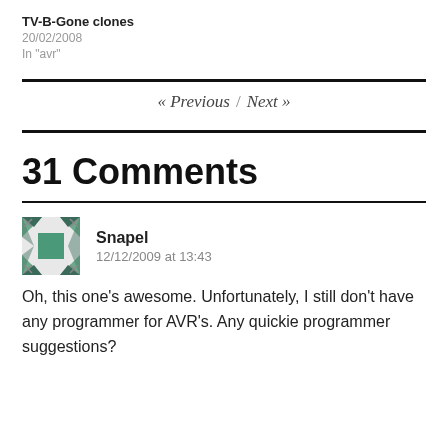TV-B-Gone clones
20/02/2008
In "avr"
« Previous / Next »
31 Comments
Snapel
12/12/2009 at 13:43
Oh, this one's awesome. Unfortunately, I still don't have any programmer for AVR's. Any quickie programmer suggestions?